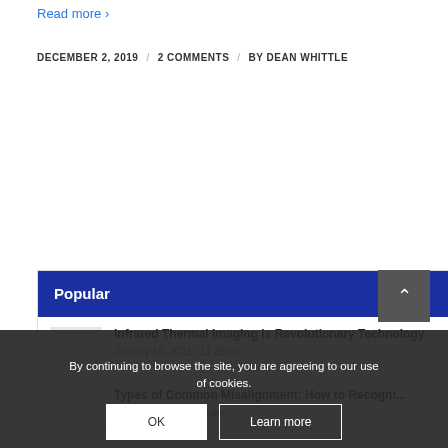Read more >
DECEMBER 2, 2019 / 2 COMMENTS / BY DEAN WHITTLE
Popular
Infrared Thermal Imaging is Revolutionary Technology
January 16, 2021 - 11:35 am
Types of Common Misalignment: How to Recognize...
May 27, 2021 - 12:24 pm
By continuing to browse the site, you are agreeing to our use of cookies.